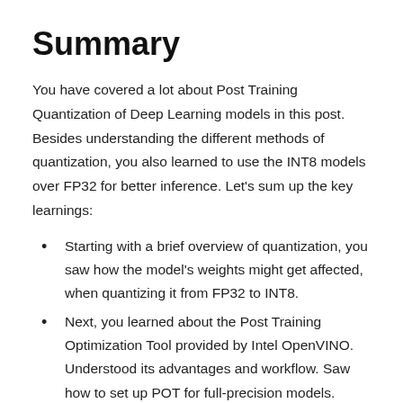Summary
You have covered a lot about Post Training Quantization of Deep Learning models in this post. Besides understanding the different methods of quantization, you also learned to use the INT8 models over FP32 for better inference. Let’s sum up the key learnings:
Starting with a brief overview of quantization, you saw how the model’s weights might get affected, when quantizing it from FP32 to INT8.
Next, you learned about the Post Training Optimization Tool provided by Intel OpenVINO. Understood its advantages and workflow. Saw how to set up POT for full-precision models. Discussed the process and the two quantization methods it offers in detail.